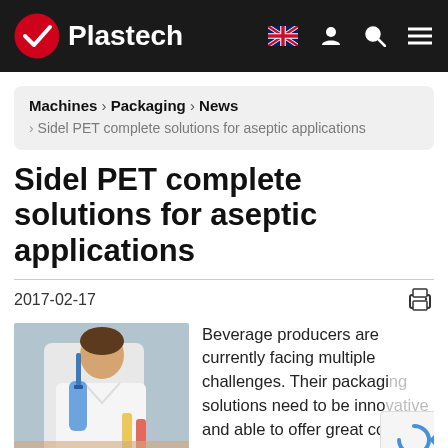Plastech
Machines › Packaging › News › Sidel PET complete solutions for aseptic applications
Sidel PET complete solutions for aseptic applications
2017-02-17
[Figure (photo): Man in white lab coat working with laboratory equipment and test tubes]
Beverage producers are currently facing multiple challenges. Their packaging solutions need to be innovative and able to offer great co...